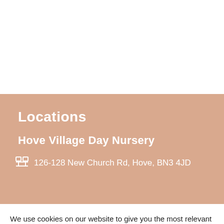Locations
Hove Village Day Nursery
126-128 New Church Rd, Hove, BN3 4JD
We use cookies on our website to give you the most relevant experience by remembering your preferences and repeat visits. By clicking “Accept All”, you consent to the use of ALL the cookies. However, you may visit “Cookie Settings” to provide a controlled consent.
Cookie Settings
Accept All